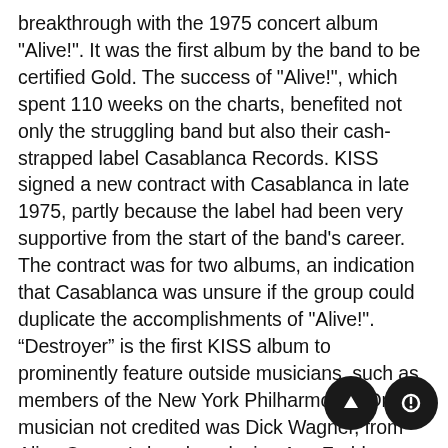breakthrough with the 1975 concert album "Alive!". It was the first album by the band to be certified Gold. The success of "Alive!", which spent 110 weeks on the charts, benefited not only the struggling band but also their cash-strapped label Casablanca Records. KISS signed a new contract with Casablanca in late 1975, partly because the label had been very supportive from the start of the band's career. The contract was for two albums, an indication that Casablanca was unsure if the group could duplicate the accomplishments of "Alive!". “Destroyer” is the first KISS album to prominently feature outside musicians, such as members of the New York Philharmonic. One musician not credited was Dick Wagner, from Alice Cooper's band, replacing Ace Frehley on the track "Sweet Pain". Wagner also played the acoustic guitar found on the song "Beth". “Destroyer” was the third successive KISS album to reach the top 40 in the US, as well as the first to chart in Germany and New Zealand. The album was certified Gold by the RIAA on April 22, 1976, and Platinum on November 11 of the same year. It was the first KISS album to achieve Platinum status. The album marked a